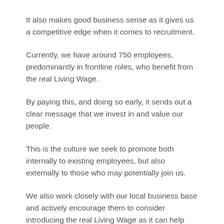It also makes good business sense as it gives us a competitive edge when it comes to recruitment.
Currently, we have around 750 employees, predominantly in frontline roles, who benefit from the real Living Wage.
By paying this, and doing so early, it sends out a clear message that we invest in and value our people.
This is the culture we seek to promote both internally to existing employees, but also externally to those who may potentially join us.
We also work closely with our local business base and actively encourage them to consider introducing the real Living Wage as it can help businesses of all sizes and in all industries realise their ambitions - which goes back to the